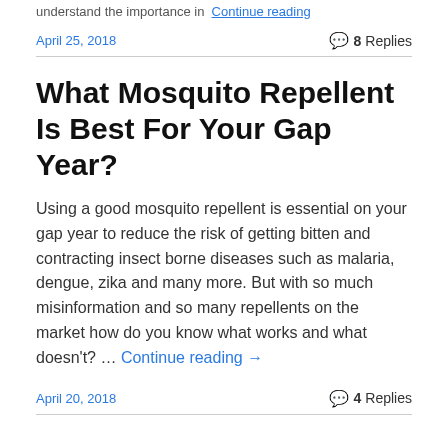understand the importance in Continue reading
April 25, 2018    8 Replies
What Mosquito Repellent Is Best For Your Gap Year?
Using a good mosquito repellent is essential on your gap year to reduce the risk of getting bitten and contracting insect borne diseases such as malaria, dengue, zika and many more. But with so much misinformation and so many repellents on the market how do you know what works and what doesn't? … Continue reading →
April 20, 2018    4 Replies